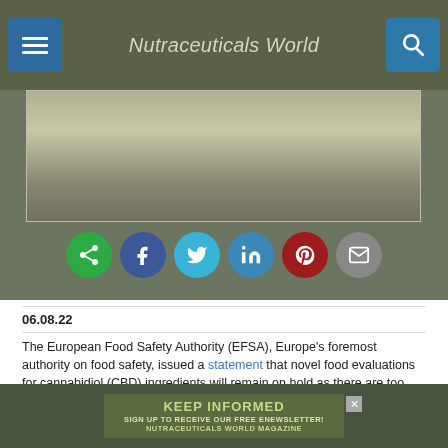Nutraceuticals World
[Figure (photo): Partial image of food/supplement product, cropped at top of page]
[Figure (infographic): Social sharing icons row: share (green), Facebook (blue), Twitter (cyan), LinkedIn (blue), Pinterest (red), email (gray)]
06.08.22
The European Food Safety Authority (EFSA), Europe’s foremost authority on food safety, issued a statement that novel food evaluations for cannabidiol (CBD) ingredients will remain on hold as there are too many gaps in clinical safety data.
[Figure (infographic): Advertisement banner: KEEP INFORMED — SIGN UP TO RECEIVE OUR FREE ENEWSLETTER! NUTRACEUTICALS WORLD MAGAZINE]